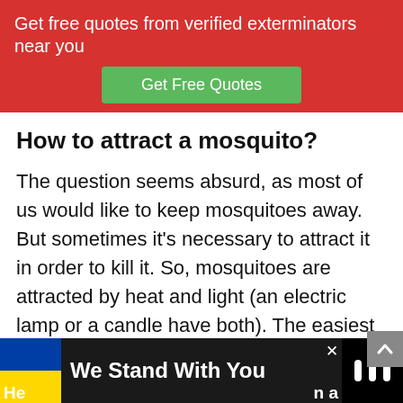Get free quotes from verified exterminators near you
Get Free Quotes
How to attract a mosquito?
The question seems absurd, as most of us would like to keep mosquitoes away. But sometimes it's necessary to attract it in order to kill it. So, mosquitoes are attracted by heat and light (an electric lamp or a candle have both). The easiest way to lure a mosquito is by using your phone.
[Figure (infographic): Bottom banner ad showing Ukrainian flag colors (blue and yellow), text 'We Stand With You', a close button, partial overlaid text, and a logo on the right.]